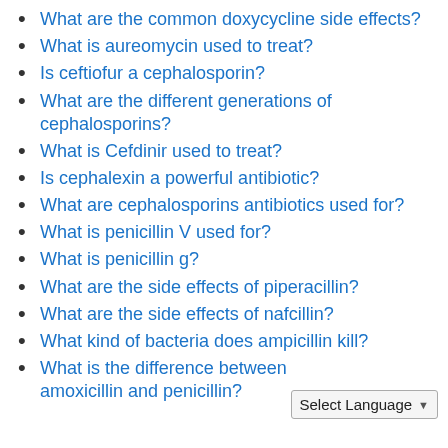What are the common doxycycline side effects?
What is aureomycin used to treat?
Is ceftiofur a cephalosporin?
What are the different generations of cephalosporins?
What is Cefdinir used to treat?
Is cephalexin a powerful antibiotic?
What are cephalosporins antibiotics used for?
What is penicillin V used for?
What is penicillin g?
What are the side effects of piperacillin?
What are the side effects of nafcillin?
What kind of bacteria does ampicillin kill?
What is the difference between amoxicillin and penicillin?